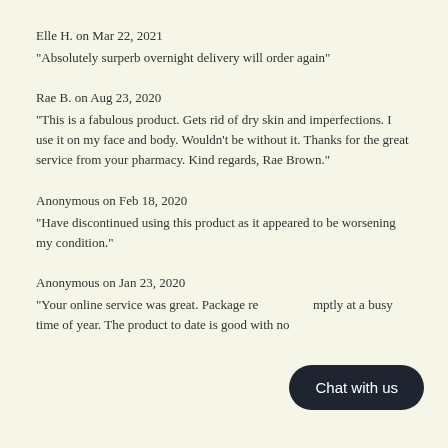Elle H. on Mar 22, 2021
"Absolutely surperb overnight delivery will order again"
Rae B. on Aug 23, 2020
"This is a fabulous product. Gets rid of dry skin and imperfections. I use it on my face and body. Wouldn't be without it. Thanks for the great service from your pharmacy. Kind regards, Rae Brown."
Anonymous on Feb 18, 2020
"Have discontinued using this product as it appeared to be worsening my condition."
Anonymous on Jan 23, 2020
"Your online service was great. Package received promptly at a busy time of year. The product to date is good with no